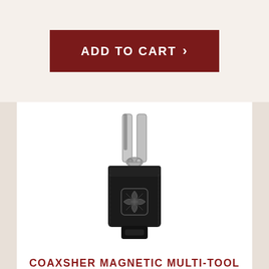[Figure (other): Dark red 'ADD TO CART ›' button on cream/beige background]
[Figure (photo): Photo of a Coaxsher Magnetic Multi-Tool Holster — a black nylon/fabric holster with the Coaxsher logo (four-petal/cross emblem) on the front, holding a silver multi-tool (pliers) sticking out the top]
COAXSHER MAGNETIC MULTI-TOOL HOLSTER